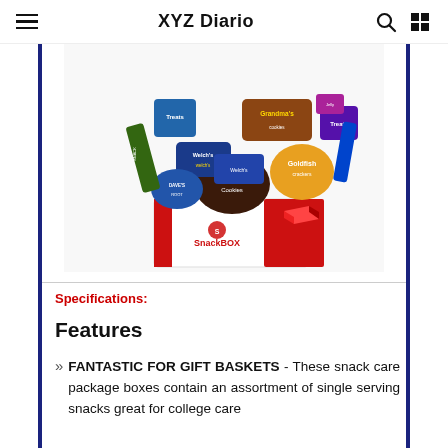XYZ Diario
[Figure (photo): A SnackBOX care package box overflowing with assorted snacks including Grandma's cookies, Welch's fruit snacks, M&M Cookies, Goldfish crackers, Trail mix, Treats, and other packaged snacks.]
Specifications:
Features
FANTASTIC FOR GIFT BASKETS - These snack care package boxes contain an assortment of single serving snacks great for college care